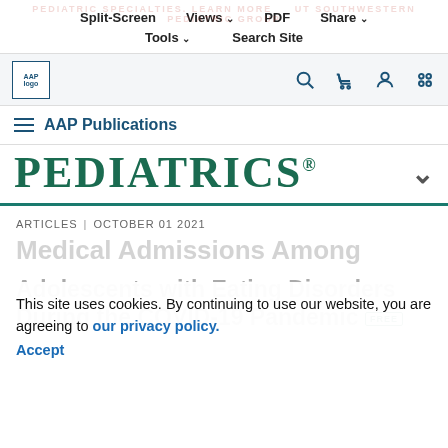Split-Screen | Views | PDF | Share | Tools | Search Site
[Figure (logo): AAP logo with AAP logo text]
AAP Publications
PEDIATRICS®
ARTICLES | OCTOBER 01 2021
Medical Admissions Among Adolescents with Eating Disorders During the COVID-19 Pandemic FREE
This site uses cookies. By continuing to use our website, you are agreeing to our privacy policy. Accept